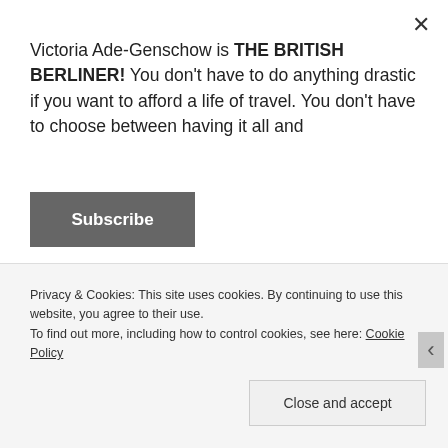Victoria Ade-Genschow is THE BRITISH BERLINER! You don't have to do anything drastic if you want to afford a life of travel. You don't have to choose between having it all and
Subscribe
WHAT IS A MAHOUT?
A Mahout is the caretaker of the elephant. Each elephant has two or three Mahouts and is extremely connected to that person. The Mahout is like a spiritual brother and lives in
Privacy & Cookies: This site uses cookies. By continuing to use this website, you agree to their use.
To find out more, including how to control cookies, see here: Cookie Policy
Close and accept